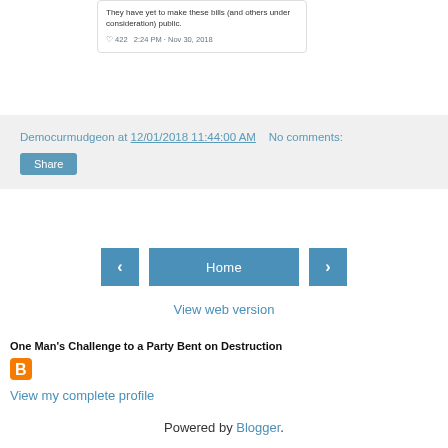[Figure (screenshot): Partial tweet card showing text 'They have yet to make these bills (and others under consideration) public.' with heart icon, 422 likes, and timestamp '2:24 PM - Nov 30, 2018']
Democurmudgeon at 12/01/2018 11:44:00 AM   No comments:
Share
‹  Home  ›
View web version
One Man's Challenge to a Party Bent on Destruction
[Figure (logo): Blogger orange B logo icon]
View my complete profile
Powered by Blogger.